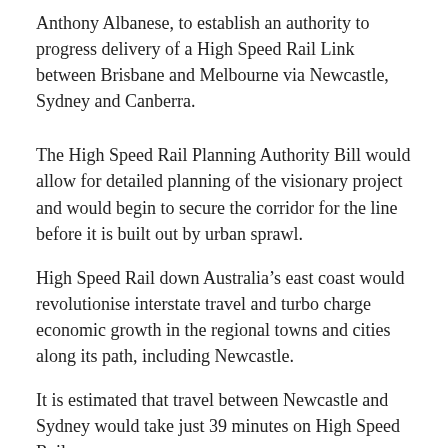Anthony Albanese, to establish an authority to progress delivery of a High Speed Rail Link between Brisbane and Melbourne via Newcastle, Sydney and Canberra.
The High Speed Rail Planning Authority Bill would allow for detailed planning of the visionary project and would begin to secure the corridor for the line before it is built out by urban sprawl.
High Speed Rail down Australia’s east coast would revolutionise interstate travel and turbo charge economic growth in the regional towns and cities along its path, including Newcastle.
It is estimated that travel between Newcastle and Sydney would take just 39 minutes on High Speed Rail.
But High Speed Rail is much more than an improved mode of inter-city transport, it would also be an important driver of economic development and jobs growth in our region.